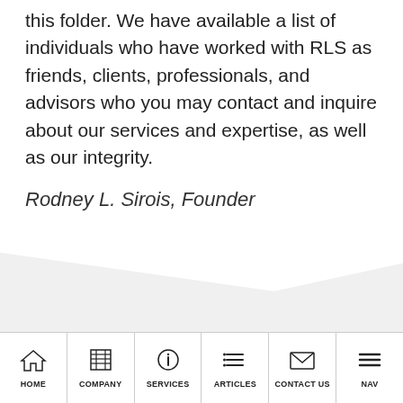this folder. We have available a list of individuals who have worked with RLS as friends, clients, professionals, and advisors who you may contact and inquire about our services and expertise, as well as our integrity.
Rodney L. Sirois, Founder
[Figure (screenshot): Mobile navigation bar with icons and labels: HOME (house icon), COMPANY (building icon), SERVICES (info circle icon), ARTICLES (list icon), CONTACT US (envelope icon), NAV (hamburger menu icon)]